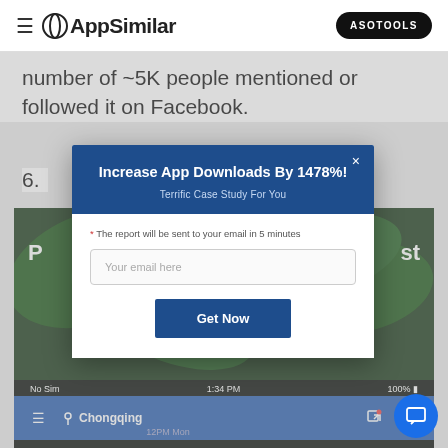AppSimilar | ASOTOOLS
number of ~5K people mentioned or followed it on Facebook.
6.
[Figure (screenshot): Screenshot of a mobile app showing Chongqing location, 1:34 PM, 100% battery, No Sim, with green plant background]
[Figure (screenshot): Modal popup overlay with dark blue header reading 'Increase App Downloads By 1478%!' and subtitle 'Terrific Case Study For You', email input field with placeholder 'Your email here', note '* The report will be sent to your email in 5 minutes', and a 'Get Now' button]
* The report will be sent to your email in 5 minutes
Your email here
Get Now